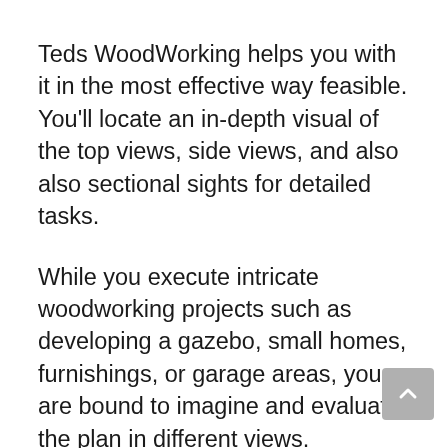Teds WoodWorking helps you with it in the most effective way feasible. You'll locate an in-depth visual of the top views, side views, and also also sectional sights for detailed tasks.
While you execute intricate woodworking projects such as developing a gazebo, small homes, furnishings, or garage areas, you are bound to imagine and evaluate the plan in different views.
The task treasury will certainly supply you with all the twisted information of every corner, every angle, and also every joint of the task strategy.